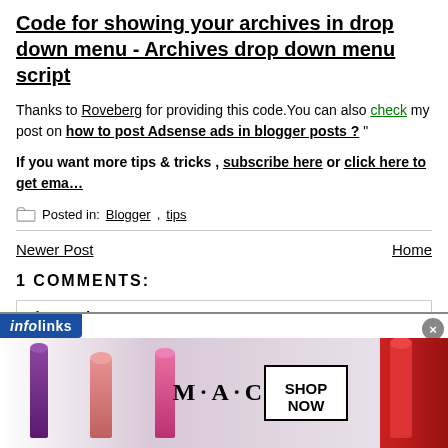Code for showing your archives in drop down menu - Archives drop down menu script
Thanks to Roveberg for providing this code. You can also check my post on how to post Adsense ads in blogger posts ?
If you want more tips & tricks , subscribe here or click here to get email
Posted in: Blogger,tips
Newer Post   Home
1 COMMENTS:
The Head™ says:
1:10 PM
[Figure (infographic): Infolinks ad banner with M·A·C cosmetics advertisement showing lipsticks and a SHOP NOW button, with a close (×) button and infolinks branding bar]